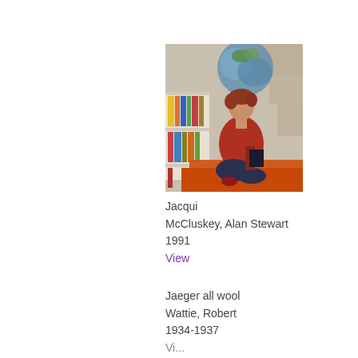[Figure (photo): Painting of a woman with reddish-brown hair sitting cross-legged on an orange surface, wearing a red top. A bookshelf with colorful books is in the background along with a blue floral element.]
Jacqui McCluskey, Alan Stewart 1991 View
Jaeger all wool Wattie, Robert 1934-1937